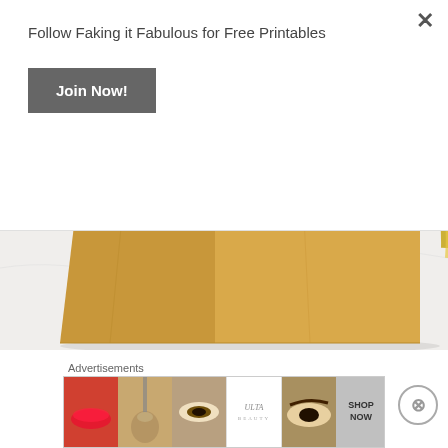Follow Faking it Fabulous for Free Printables
Join Now!
[Figure (photo): Close-up photo of a brown kraft paper gift bag on a white marble surface with a gold circular object visible in the upper right corner.]
Staff appreciation gift tags are always popular on my blog. If you manage a business, and have great employees, it is never a bad idea to show them a little love. Surprise your staff with a
Advertisements
[Figure (photo): ULTA Beauty advertisement banner showing makeup images - red lips, makeup brush, eye makeup, ULTA logo, smoky eye, with SHOP NOW button.]